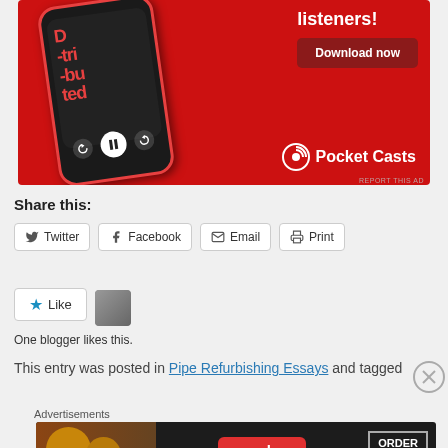[Figure (photo): Pocket Casts podcast app advertisement with red background showing a smartphone with the app open and a 'Download now' button]
REPORT THIS AD
Share this:
Twitter  Facebook  Email  Print
Like  One blogger likes this.
This entry was posted in Pipe Refurbishing Essays and tagged
Advertisements
[Figure (photo): Seamless food delivery advertisement showing pizza with ORDER NOW button]